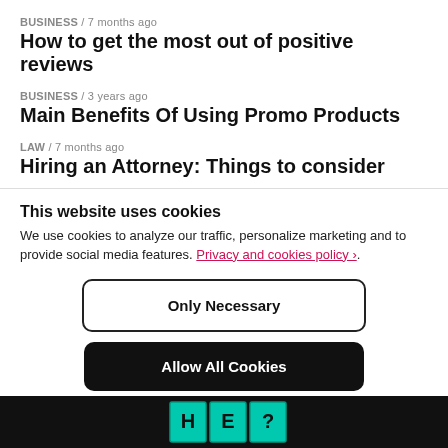BUSINESS / 7 months ago
How to get the most out of positive reviews
BUSINESS / 3 years ago
Main Benefits Of Using Promo Products
LAW / 7 months ago
Hiring an Attorney: Things to consider
This website uses cookies
We use cookies to analyze our traffic, personalize marketing and to provide social media features. Privacy and cookies policy ›.
Only Necessary
Allow All Cookies
Configure Settings ›
[Figure (logo): Dark footer bar with teal/green logo boxes showing stylized characters]